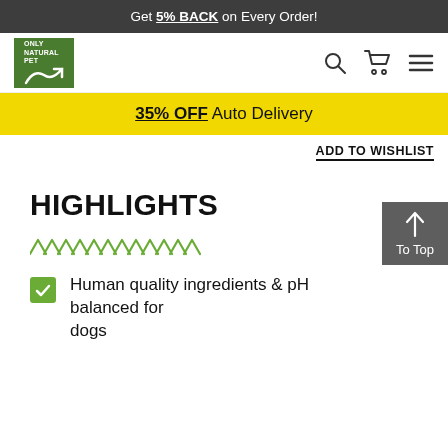Get 5% BACK on Every Order!
[Figure (logo): Only Natural Pet logo — green box with white text and leaf/bird graphic]
35% OFF Auto Delivery
ADD TO WISHLIST
HIGHLIGHTS
[Figure (illustration): Decorative green chevron/zigzag pattern]
Human quality ingredients & pH balanced for dogs